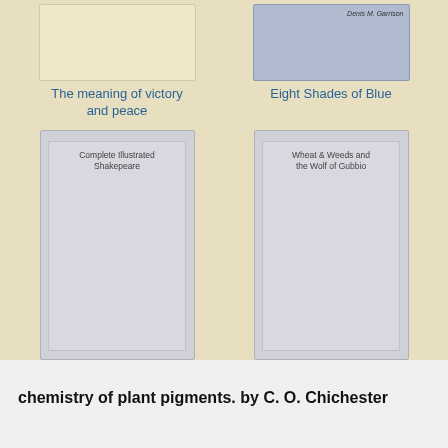[Figure (illustration): Book cover placeholder - beige/tan color for 'The meaning of victory and peace']
The meaning of victory and peace
[Figure (illustration): Book cover with blue/grey tones showing 'Denis M. Garrison' text, for 'Eight Shades of Blue']
Eight Shades of Blue
[Figure (illustration): Gray book cover placeholder with text 'Complete Illustrated Shakepeare']
Complete Illustrated Shakepeare
[Figure (illustration): Gray book cover placeholder with text 'Wheat & Weeds and the Wolf of Gubbio']
Wheat & Weeds and the Wolf of Gubbio
chemistry of plant pigments. by C. O. Chichester